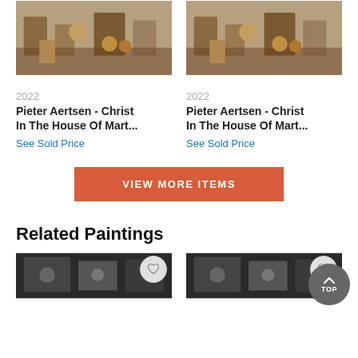[Figure (photo): Painting thumbnail - Pieter Aertsen Christ In The House Of Mart (left)]
2022
Pieter Aertsen - Christ In The House Of Mart...
See Sold Price
[Figure (photo): Painting thumbnail - Pieter Aertsen Christ In The House Of Mart (right)]
2022
Pieter Aertsen - Christ In The House Of Mart...
See Sold Price
VIEW MORE ITEMS
Related Paintings
[Figure (photo): Related painting thumbnail (left bottom)]
[Figure (photo): Related painting thumbnail (right bottom)]